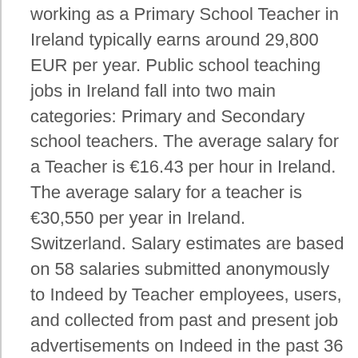working as a Primary School Teacher in Ireland typically earns around 29,800 EUR per year. Public school teaching jobs in Ireland fall into two main categories: Primary and Secondary school teachers. The average salary for a Teacher is €16.43 per hour in Ireland. The average salary for a teacher is €30,550 per year in Ireland. Switzerland. Salary estimates are based on 58 salaries submitted anonymously to Indeed by Teacher employees, users, and collected from past and present job advertisements on Indeed in the past 36 months. Teachers' salaries are the average gross salaries of educational personnel according to official pay scales, before the deduction of taxes, including the employee's contributions for retirement or health care plans, and other contributions or premiums for social insurance or other purposes, but less the employer's contribution to social security and